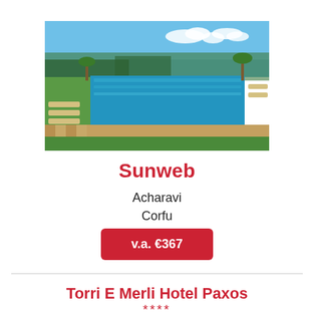[Figure (photo): Outdoor pool area with blue water, green grass, paving stones, and blue sky with clouds]
Sunweb
Acharavi
Corfu
v.a. €367
Torri E Merli Hotel Paxos
****
[Figure (photo): Partial view of hotel building or trees with sky background]